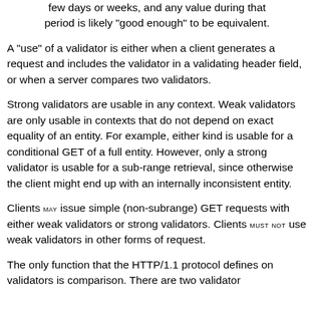few days or weeks, and any value during that period is likely "good enough" to be equivalent.
A "use" of a validator is either when a client generates a request and includes the validator in a validating header field, or when a server compares two validators.
Strong validators are usable in any context. Weak validators are only usable in contexts that do not depend on exact equality of an entity. For example, either kind is usable for a conditional GET of a full entity. However, only a strong validator is usable for a sub-range retrieval, since otherwise the client might end up with an internally inconsistent entity.
Clients MAY issue simple (non-subrange) GET requests with either weak validators or strong validators. Clients MUST NOT use weak validators in other forms of request.
The only function that the HTTP/1.1 protocol defines on validators is comparison. There are two validator